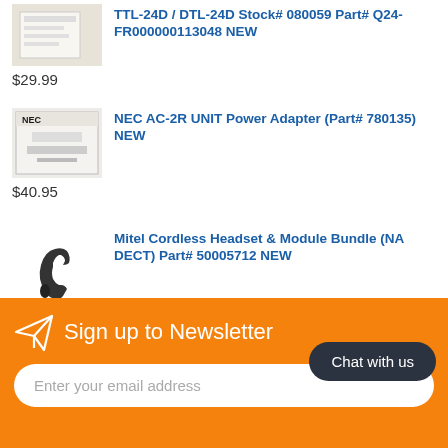[Figure (photo): Product image for TTL-24D / DTL-24D phone, partially visible at top]
TTL-24D / DTL-24D Stock# 080059 Part# Q24-FR000000113048 NEW
$29.99
[Figure (photo): NEC AC-2R UNIT Power Adapter box, white/gray packaging with NEC logo and barcode]
NEC AC-2R UNIT Power Adapter (Part# 780135) NEW
$40.95
[Figure (photo): Mitel Cordless Headset & Module Bundle (NA DECT), black handset/headset device]
Mitel Cordless Headset & Module Bundle (NA DECT) Part# 50005712 NEW
$479.00
Sign up to Newsletter
Chat with us
Enter your email address